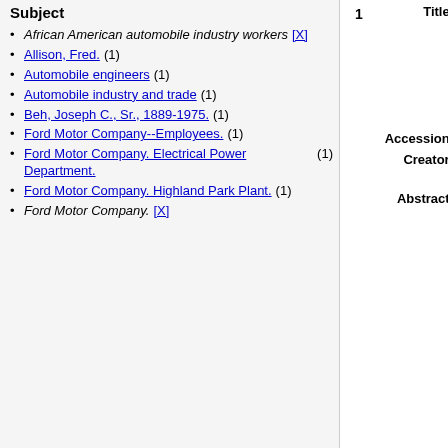Subject
African American automobile industry workers [X]
Allison, Fred. (1)
Automobile engineers (1)
Automobile industry and trade (1)
Beh, Joseph C., Sr., 1889-1975. (1)
Ford Motor Company--Employees. (1)
Ford Motor Company. Electrical Power Department. (1)
Ford Motor Company. Highland Park Plant. (1)
Ford Motor Company. [X]
1
Title: Joseph C. Beh, Sr. papers, 1915-1928 [pdf] Requires cookie*
Accession: 147
Creator: Beh, Joseph C., Sr., 1889-1975.
Abstract: John C. Beh Sr. became an employee of the Ford Motor Company in 1915. These papers mostly include employee lists for engineering and power plant related departments and other miscellaneous documents relating to his employment.